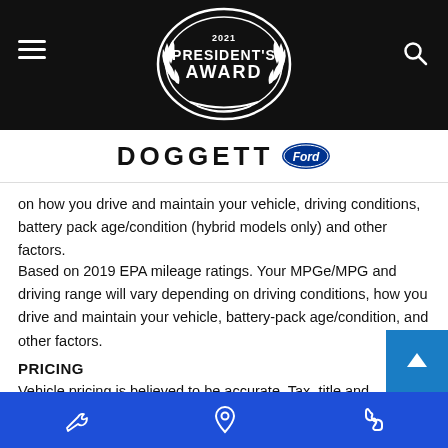Doggett Ford - 2021 President's Award
on how you drive and maintain your vehicle, driving conditions, battery pack age/condition (hybrid models only) and other factors.
Based on 2019 EPA mileage ratings. Your MPGe/MPG and driving range will vary depending on driving conditions, how you drive and maintain your vehicle, battery-pack age/condition, and other factors.
PRICING
Vehicle pricing is believed to be accurate. Tax, title and registration are not included in prices shown unless otherwise stated. Manufacturer incentives may vary by region and are subject to change. Vehicle information & features are based upon standard equipment and may vary by vehicle. Monthly payments may be
Service | Location | Phone